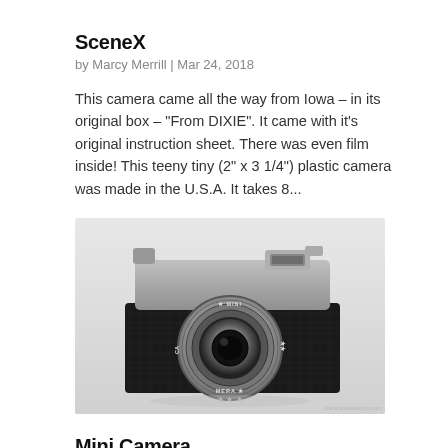SceneX
by Marcy Merrill | Mar 24, 2018
This camera came all the way from Iowa – in its original box – “From DIXIE”. It came with it’s original instruction sheet. There was even film inside! This teeny tiny (2” x 3 1/4”) plastic camera was made in the U.S.A. It takes 8...
[Figure (photo): A small black mini camera with a round silver lens labeled MINI CAMERA, sitting on a light surface.]
Mini Camera
by Marcy Merrill | Jan 25, 2018